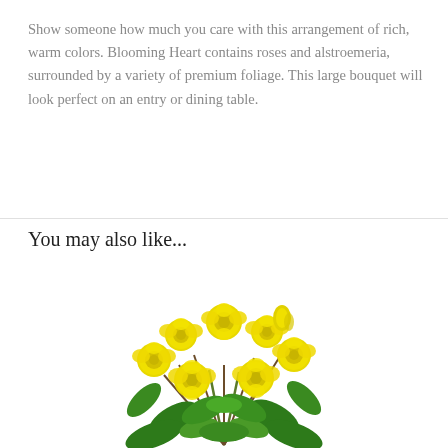Show someone how much you care with this arrangement of rich, warm colors. Blooming Heart contains roses and alstroemeria, surrounded by a variety of premium foliage. This large bouquet will look perfect on an entry or dining table.
You may also like...
[Figure (photo): A bouquet of bright yellow roses with green foliage on a white background]